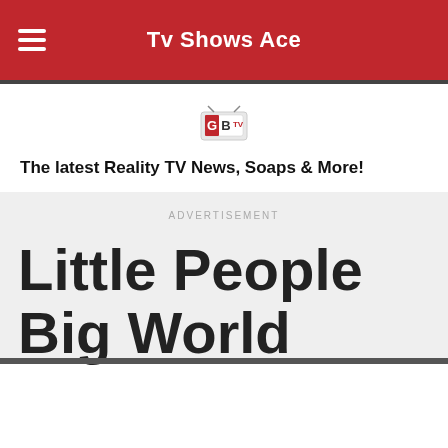Tv Shows Ace
[Figure (logo): GBTV logo — a small stylized television icon with the letters G, B, TV]
The latest Reality TV News, Soaps & More!
ADVERTISEMENT
Little People Big World